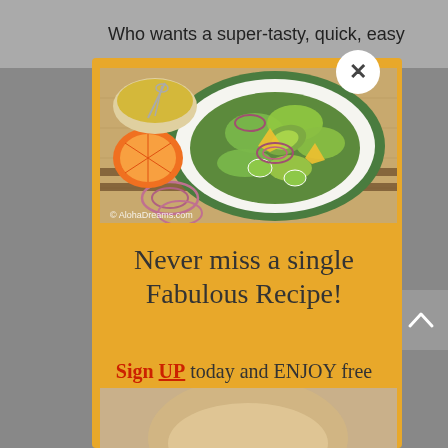Who wants a super-tasty, quick, easy
[Figure (photo): Overhead photo of a green plate with a fresh salad containing avocado, mango, cucumber, red onion rings, and lettuce. Beside the plate is a bowl of dressing with a whisk and a halved orange, all on a wooden cutting board. Watermark: © AlohaDreams.com]
Never miss a single Fabulous Recipe!
Sign UP today and ENJOY free Recipes & Party Ideas in your